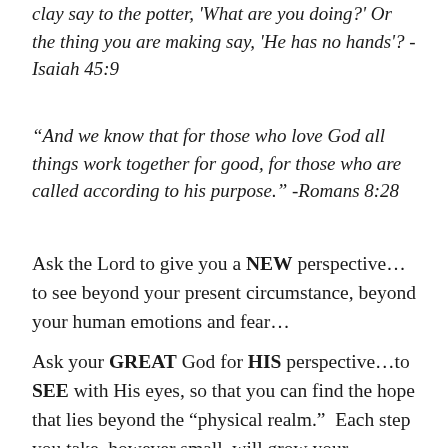clay say to the potter, 'What are you doing?' Or the thing you are making say, 'He has no hands'? -Isaiah 45:9
“And we know that for those who love God all things work together for good, for those who are called according to his purpose.” -Romans 8:28
Ask the Lord to give you a NEW perspective…to see beyond your present circumstance, beyond your human emotions and fear…
Ask your GREAT God for HIS perspective…to SEE with His eyes, so that you can find the hope that lies beyond the “physical realm.”  Each step you take, however small, will grow your